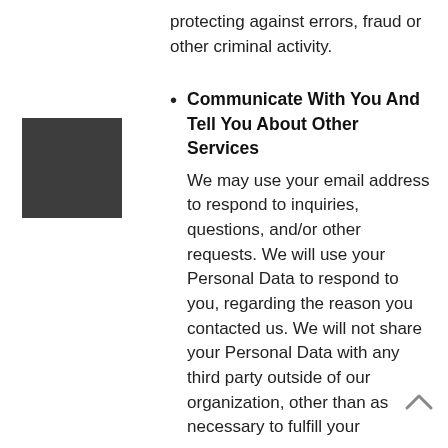protecting against errors, fraud or other criminal activity.
[Figure (other): Dark grey/charcoal square decorative block element on the left side of the page]
Communicate With You And Tell You About Other Services
We may use your email address to respond to inquiries, questions, and/or other requests. We will use your Personal Data to respond to you, regarding the reason you contacted us. We will not share your Personal Data with any third party outside of our organization, other than as necessary to fulfill your